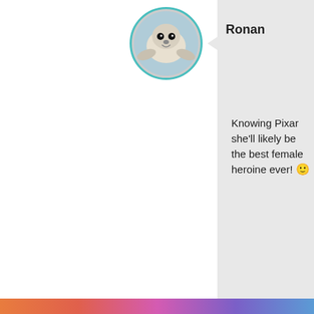[Figure (photo): Circular avatar image of a baby seal, with teal/green border]
Ronan
Knowing Pixar she'll likely be the best female heroine ever! 🙂
MAY 27, 2011 AT 14:18
REPLY
Privacy & Cookies: This site uses cookies. By continuing to use this website, you agree to their use.
To find out more, including how to control cookies, see here: Cookie Policy
Close and accept